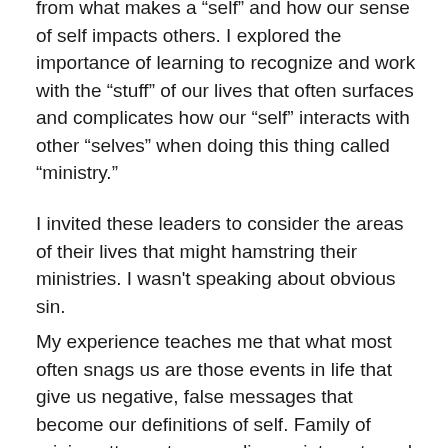from what makes a “self” and how our sense of self impacts others. I explored the importance of learning to recognize and work with the “stuff” of our lives that often surfaces and complicates how our “self” interacts with other “selves” when doing this thing called “ministry.”
I invited these leaders to consider the areas of their lives that might hamstring their ministries. I wasn't speaking about obvious sin.
My experience teaches me that what most often snags us are those events in life that give us negative, false messages that become our definitions of self. Family of origin patterns, trauma, disappointments and failures carry with them messages that determine what we believe to be true about us. We then live and minister out of those assumptions.